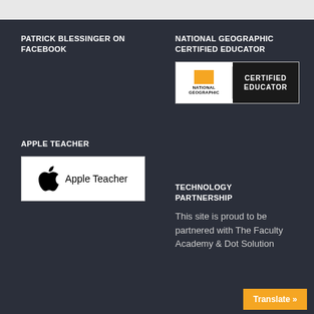PATRICK BLESSINGER ON FACEBOOK
NATIONAL GEOGRAPHIC CERTIFIED EDUCATOR
[Figure (logo): National Geographic Certified Educator badge with yellow rectangle icon and 'NATIONAL GEOGRAPHIC' text on white left panel, and 'CERTIFIED EDUCATOR' text on black right panel]
APPLE TEACHER
[Figure (logo): Apple Teacher badge showing Apple logo icon and 'Apple Teacher' text on white background]
TECHNOLOGY PARTNERSHIP
This site is proud to be partnered with The Faculty Academy & Dot Solution
Translate »